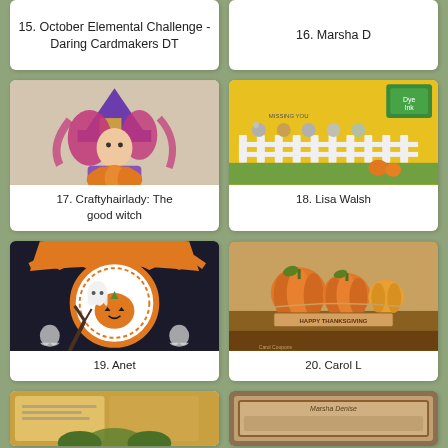[Figure (photo): Card entry #15: October Elemental Challenge - Daring Cardmakers DT (no image shown, text only card)]
15. October Elemental Challenge - Daring Cardmakers DT
[Figure (photo): Card entry #16: Marsha D (no image shown, text only card)]
16. Marsha D
[Figure (photo): Card entry #17: Craftyhairlady - illustration of a witch girl with purple hat and pink/red hair sitting on a pumpkin]
17. Craftyhairlady: The good witch
[Figure (photo): Card entry #18: Lisa Walsh - yellow greeting card with mice characters near a white fence, ink pad visible in corner]
18. Lisa Walsh
[Figure (photo): Card entry #19: Anet - Halloween treat bag with orange trim featuring ghost and jack-o-lantern circular embellishment]
19. Anet
[Figure (photo): Card entry #20: Carol L - Thanksgiving card with pumpkins and Happy Thanksgiving banner on brown patterned background]
20. Carol L
[Figure (photo): Card entry #21: partially visible card at bottom left]
[Figure (photo): Card entry #22: partially visible card at bottom right]